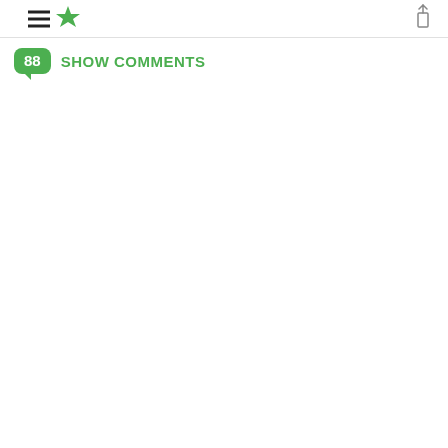hamburger menu, star logo, share icon
88 SHOW COMMENTS